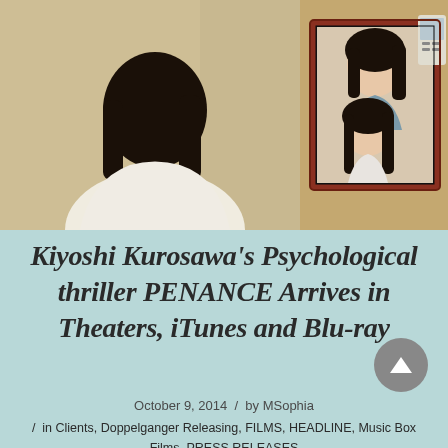[Figure (photo): A woman with dark hair seen from behind wearing a white top, looking at a framed photograph on a wall. The photo shows a woman and a young girl with long dark hair. A white device (thermostat or intercom) is visible on the wall to the right.]
Kiyoshi Kurosawa's Psychological thriller PENANCE Arrives in Theaters, iTunes and Blu-ray
October 9, 2014  /  by MSophia
/ in Clients, Doppelganger Releasing, FILMS, HEADLINE, Music Box Films, PRESS RELEASES